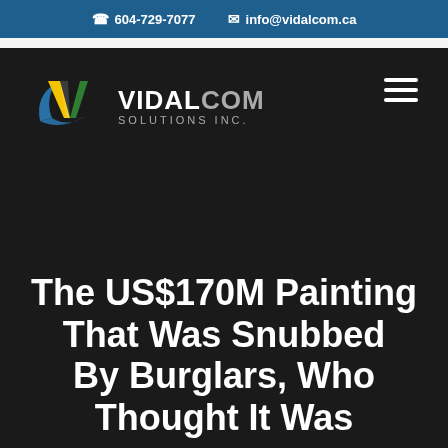604-729-7077  info@vidalcom.ca
[Figure (logo): Vidalcom Solutions Inc. logo with stylized V and swoosh in yellow, green, and blue, on dark background]
The US$170M Painting That Was Snubbed By Burglars, Who Thought It Was